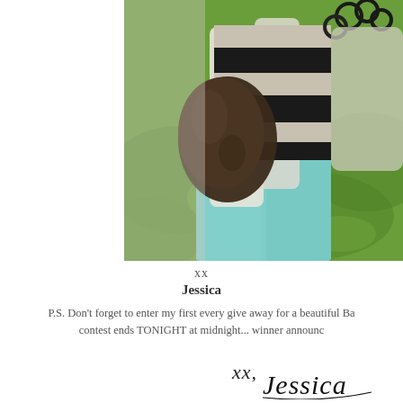[Figure (photo): A person wearing a black and white striped top, white scarf/cardigan, teal/mint pants, holding a dark brown leather bag. Green grass background. Photo cropped to show torso and accessories.]
xx
Jessica
P.S. Don't forget to enter my first every give away for a beautiful Ba... contest ends TONIGHT at midnight... winner announc...
[Figure (illustration): Handwritten cursive signature reading 'xx, Jessica']